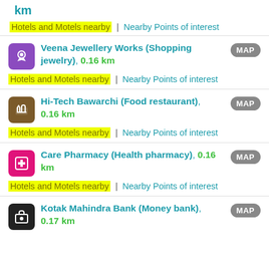km
Hotels and Motels nearby | Nearby Points of interest
Veena Jewellery Works (Shopping jewelry), 0.16 km — MAP
Hotels and Motels nearby | Nearby Points of interest
Hi-Tech Bawarchi (Food restaurant), 0.16 km — MAP
Hotels and Motels nearby | Nearby Points of interest
Care Pharmacy (Health pharmacy), 0.16 km — MAP
Hotels and Motels nearby | Nearby Points of interest
Kotak Mahindra Bank (Money bank), 0.17 km — MAP